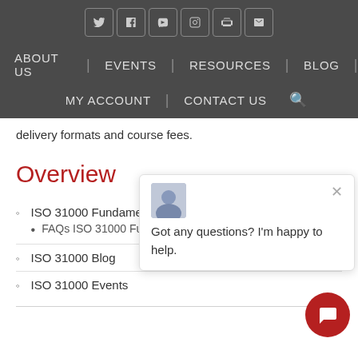ABOUT US | EVENTS | RESOURCES | BLOG | MY ACCOUNT | CONTACT US
delivery formats and course fees.
Overview
ISO 31000 Fundamentals
FAQs ISO 31000 Fun...
ISO 31000 Blog
ISO 31000 Events
[Figure (screenshot): Chat popup with avatar image and text 'Got any questions? I'm happy to help.' with a close button, and a red chat button in the bottom right corner.]